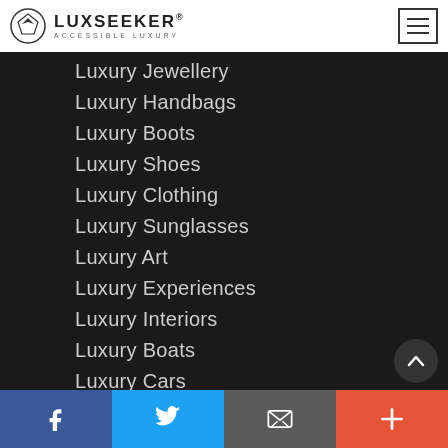LUXSEEKER® ACCESSIBLE LUXURY
Luxury Jewellery
Luxury Handbags
Luxury Boots
Luxury Shoes
Luxury Clothing
Luxury Sunglasses
Luxury Art
Luxury Experiences
Luxury Interiors
Luxury Boats
Luxury Cars
Luxury Motorcycles
Luxury Property
f  Twitter  Email  +